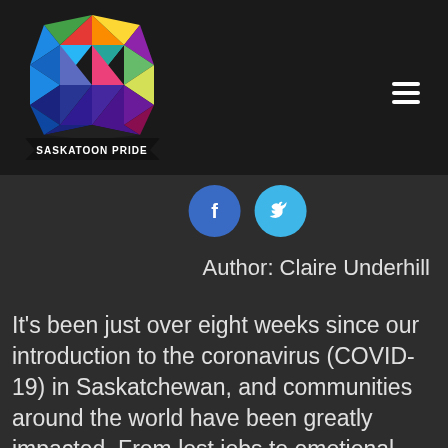[Figure (logo): Saskatoon Pride logo — colorful geometric hexagon shape with rainbow triangular segments and a black banner reading SASKATOON PRIDE]
[Figure (infographic): Facebook and Twitter social sharing buttons — two circular icons, dark blue for Facebook (f) and light blue for Twitter (bird)]
Author: Claire Underhill
It's been just over eight weeks since our introduction to the coronavirus (COVID-19) in Saskatchewan, and communities around the world have been greatly impacted. From lost jobs to emotional distress, our lives will forever be changed by this nasty